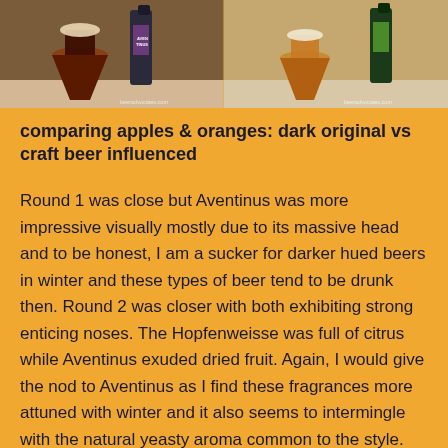[Figure (photo): Two side-by-side photos of beer glasses and bottles on a light surface. Left photo shows a dark beer in a glass next to a dark bottle labeled Aventinus. Right photo shows lighter beer in a glass next to a green-labeled bottle. Both photos have a small watermark reading 'beeradvocates.com' in the bottom right corner.]
comparing apples & oranges: dark original vs craft beer influenced
Round 1 was close but Aventinus was more impressive visually mostly due to its massive head and to be honest, I am a sucker for darker hued beers in winter and these types of beer tend to be drunk then. Round 2 was closer with both exhibiting strong enticing noses. The Hopfenweisse was full of citrus while Aventinus exuded dried fruit. Again, I would give the nod to Aventinus as I find these fragrances more attuned with winter and it also seems to intermingle with the natural yeasty aroma common to the style. Round 3 was again even with both offering gorgeous initial flavors with the Hopfenweisse perhaps being more